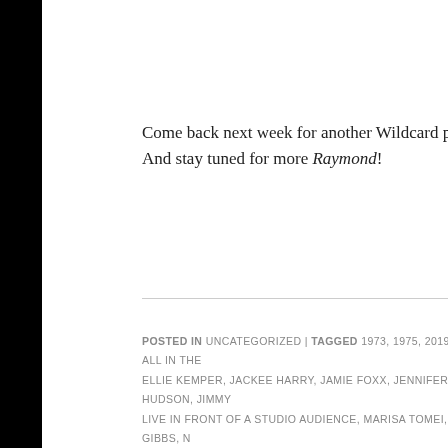Come back next week for another Wildcard post! And stay tuned for more Raymond!
POSTED IN UNCATEGORIZED | TAGGED 1973, 1975, 2019, ABC, ALL IN THE... ELLIE KEMPER, JACKEE HARRY, JAMIE FOXX, JENNIFER HUDSON, JIMMY... LIVE IN FRONT OF A STUDIO AUDIENCE, MARISA TOMEI, MARLA GIBBS, N... THEATRE, SEAN HAYES, SEASON FOUR, SEASON ONE, SITCOMS, SPECIA... TELEVISION, THE JEFFERSONS, WANDA SYKES, WILL FERRELL, WOODY H...